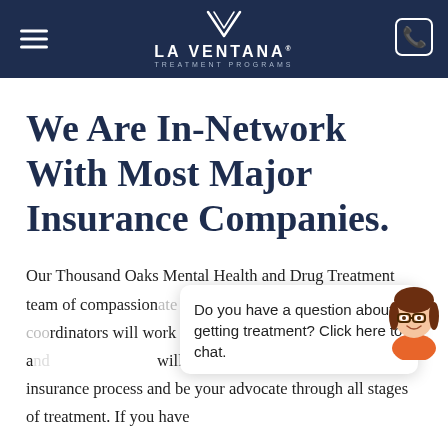LA VENTANA TREATMENT PROGRAMS
We Are In-Network With Most Major Insurance Companies.
Our Thousand Oaks Mental Health and Drug Treatment team of compassionate and knowledgeable intake coordinators will work with you to provide information and will walk you through every step of the insurance process and be your advocate through all stages of treatment. If you have
[Figure (other): Chat popup overlay with text 'Do you have a question about getting treatment? Click here to chat.' and animated avatar character]